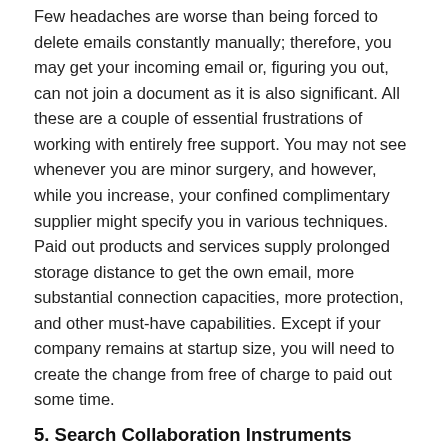Few headaches are worse than being forced to delete emails constantly manually; therefore, you may get your incoming email or, figuring you out, can not join a document as it is also significant. All these are a couple of essential frustrations of working with entirely free support. You may not see whenever you are minor surgery, and however, while you increase, your confined complimentary supplier might specify you in various techniques. Paid out products and services supply prolonged storage distance to get the own email, more substantial connection capacities, more protection, and other must-have capabilities. Except if your company remains at startup size, you will need to create the change from free of charge to paid out some time.
5. Search Collaboration Instruments
Email has now come to be a lot greater than only a straightforward communicating instrument. Besides, it is